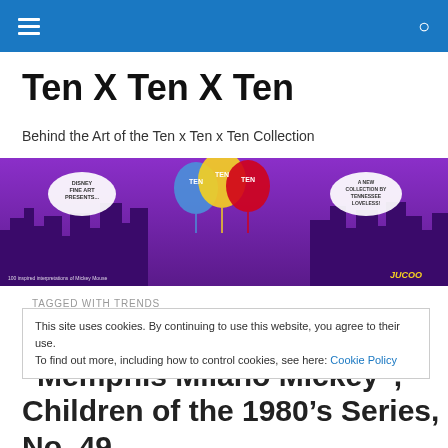Ten X Ten X Ten — navigation bar
Ten X Ten X Ten
Behind the Art of the Ten x Ten x Ten Collection
[Figure (illustration): Purple cityscape banner with colorful balloons labeled TEN TEN TEN, speech bubbles reading 'Disney Fine Art Presents...' and 'A New Collection by Tennessee Loveless!' and text '100 inspired interpretations of Mickey Mouse']
TAGGED WITH TRENDS
This site uses cookies. By continuing to use this website, you agree to their use. To find out more, including how to control cookies, see here: Cookie Policy
“Memphis Milano Mickey”, Children of the 1980’s Series, No. 49